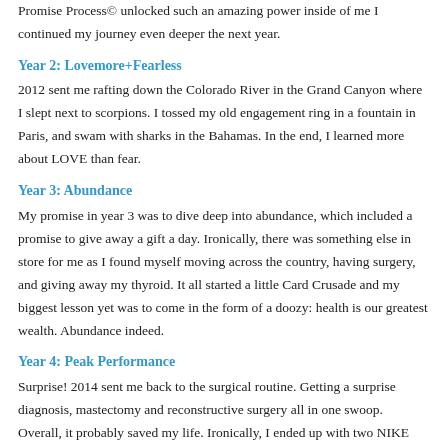Promise Process© unlocked such an amazing power inside of me I continued my journey even deeper the next year.
Year 2: Lovemore+Fearless
2012 sent me rafting down the Colorado River in the Grand Canyon where I slept next to scorpions. I tossed my old engagement ring in a fountain in Paris, and swam with sharks in the Bahamas. In the end, I learned more about LOVE than fear.
Year 3: Abundance
My promise in year 3 was to dive deep into abundance, which included a promise to give away a gift a day. Ironically, there was something else in store for me as I found myself moving across the country, having surgery, and giving away my thyroid. It all started a little Card Crusade and my biggest lesson yet was to come in the form of a doozy: health is our greatest wealth. Abundance indeed.
Year 4: Peak Performance
Surprise! 2014 sent me back to the surgical routine. Getting a surprise diagnosis, mastectomy and reconstructive surgery all in one swoop. Overall, it probably saved my life. Ironically, I ended up with two NIKE swooshes in the form of scars across my chest. The sign of Peak...